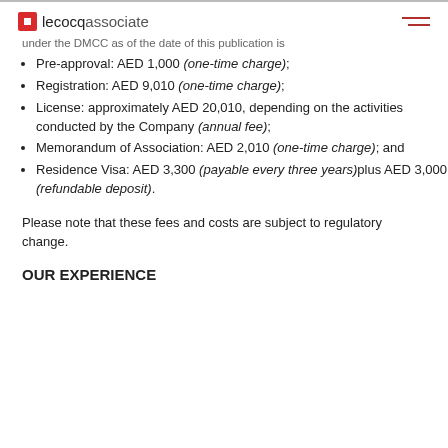lecocqassociate
under the DMCC as of the date of this publication is
Pre-approval: AED 1,000 (one-time charge);
Registration: AED 9,010 (one-time charge);
License: approximately AED 20,010, depending on the activities conducted by the Company (annual fee);
Memorandum of Association: AED 2,010 (one-time charge); and
Residence Visa: AED 3,300 (payable every three years)plus AED 3,000 (refundable deposit).
Please note that these fees and costs are subject to regulatory change.
OUR EXPERIENCE